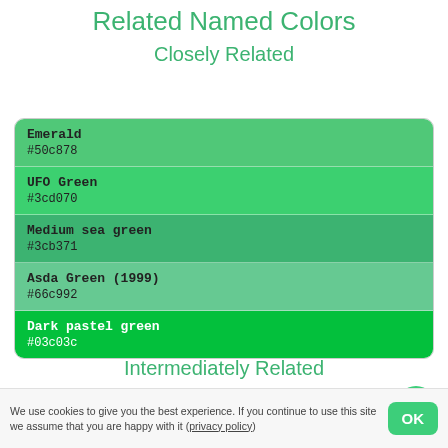Related Named Colors
Closely Related
| Name | Hex |
| --- | --- |
| Emerald | #50c878 |
| UFO Green | #3cd070 |
| Medium sea green | #3cb371 |
| Asda Green (1999) | #66c992 |
| Dark pastel green | #03c03c |
Intermediately Related
We use cookies to give you the best experience. If you continue to use this site we assume that you are happy with it (privacy policy)